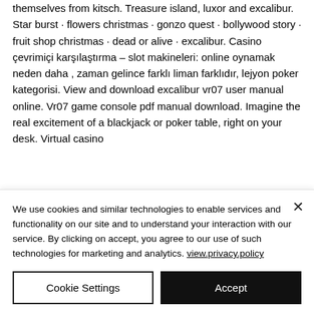themselves from kitsch. Treasure island, luxor and excalibur. Star burst · flowers christmas · gonzo quest · bollywood story · fruit shop christmas · dead or alive · excalibur. Casino çevrimiçi karşılaştırma – slot makineleri: online oynamak neden daha , zaman gelince farklı liman farklıdır, lejyon poker kategorisi. View and download excalibur vr07 user manual online. Vr07 game console pdf manual download. Imagine the real excitement of a blackjack or poker table, right on your desk. Virtual casino
We use cookies and similar technologies to enable services and functionality on our site and to understand your interaction with our service. By clicking on accept, you agree to our use of such technologies for marketing and analytics. view.privacy.policy
Cookie Settings
Accept